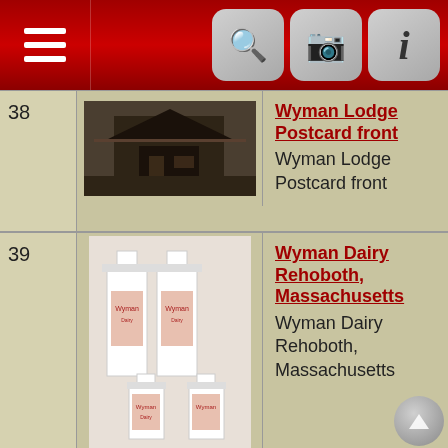[Figure (screenshot): Mobile app navigation bar with hamburger menu on left, and search, camera, info icons on right on dark red background]
| # | Image | Title / Description |
| --- | --- | --- |
| 38 | [Wyman Lodge photo] | Wyman Lodge Postcard front
Wyman Lodge Postcard front |
| 39 | [Wyman Dairy bottles photo] | Wyman Dairy Rehoboth, Massachusetts
Wyman Dairy Rehoboth, Massachusetts |
| 40 | [Revolutionary War Marker photo] | Joseph Wyman Revolutionary War Marker
Joseph Wyman Revolutionary War Marker |
Switch to standard site
Note: This site uses cookies.
• View policy
This site powered by The Next Generation of Genealogy Sitebuilding v. 13.1.2, written by Darrin Lythgoe © 2001-2022.
I understand
Maintained by 3600 Wyman